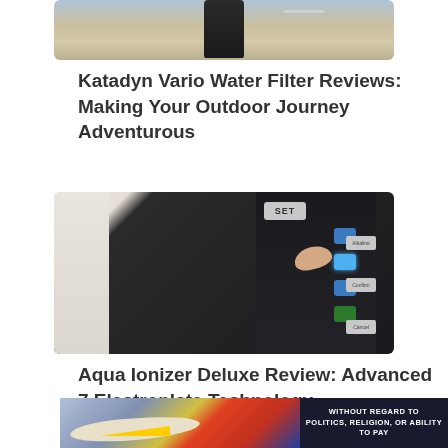[Figure (photo): Katadyn Vario water filter product photo, showing a dark filter device on sandy/gravelly surface with a white tube]
Katadyn Vario Water Filter Reviews: Making Your Outdoor Journey Adventurous
[Figure (photo): Aqua Ionizer Deluxe control panel with blue and green buttons, a hand pressing a button on the right side]
Aqua Ionizer Deluxe Review: Advanced 7 Electroplate Technology
[Figure (photo): Advertisement banner at bottom: airplane being loaded on left, dark banner with white text 'WITHOUT REGARD TO POLITICS, RELIGION, OR ABILITY TO PAY' on right]